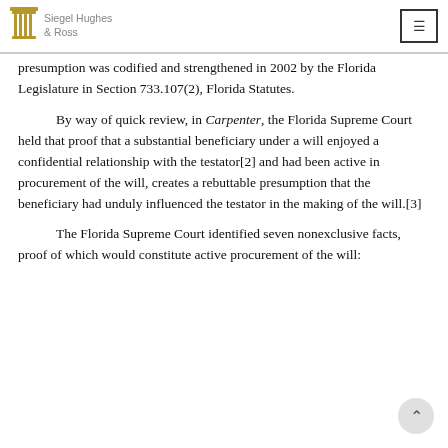Siegel Hughes & Ross
presumption was codified and strengthened in 2002 by the Florida Legislature in Section 733.107(2), Florida Statutes.
By way of quick review, in Carpenter, the Florida Supreme Court held that proof that a substantial beneficiary under a will enjoyed a confidential relationship with the testator[2] and had been active in procurement of the will, creates a rebuttable presumption that the beneficiary had unduly influenced the testator in the making of the will.[3]
The Florida Supreme Court identified seven nonexclusive facts, proof of which would constitute active procurement of the will: